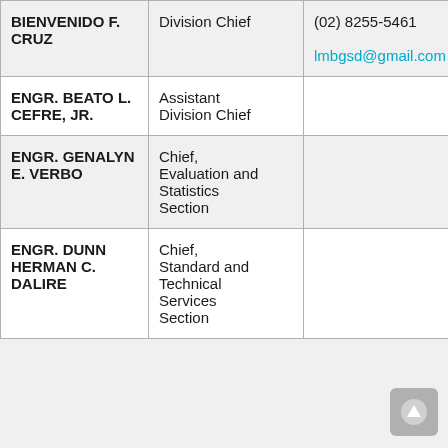| Name | Title | Contact |
| --- | --- | --- |
| BIENVENIDO F. CRUZ | Division Chief | (02) 8255-5461
lmbgsd@gmail.com |
| ENGR. BEATO L. CEFRE, JR. | Assistant Division Chief |  |
| ENGR. GENALYN E. VERBO | Chief, Evaluation and Statistics Section |  |
| ENGR. DUNN HERMAN C. DALIRE | Chief, Standard and Technical Services Section |  |